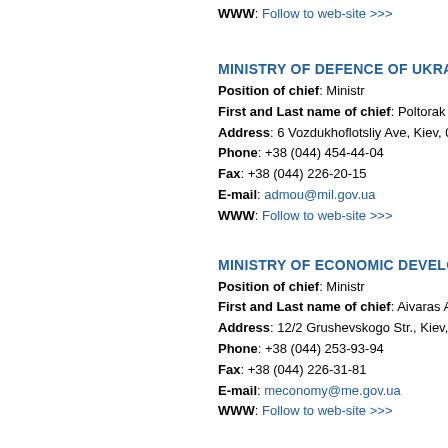WWW: Follow to web-site >>>
MINISTRY OF DEFENCE OF UKRAINE
Position of chief: Ministr
First and Last name of chief: Poltorak Stepa...
Address: 6 Vozdukhoflotsliy Ave, Kiev, 03168,...
Phone: +38 (044) 454-44-04
Fax: +38 (044) 226-20-15
E-mail: admou@mil.gov.ua
WWW: Follow to web-site >>>
MINISTRY OF ECONOMIC DEVELOPEMENT...
Position of chief: Ministr
First and Last name of chief: Aivaras Abroma...
Address: 12/2 Grushevskogo Str., Kiev, 01008...
Phone: +38 (044) 253-93-94
Fax: +38 (044) 226-31-81
E-mail: meconomy@me.gov.ua
WWW: Follow to web-site >>>
MINISTRY OF EDUCATION AND SCIENCE O...
Position of chief: Head...